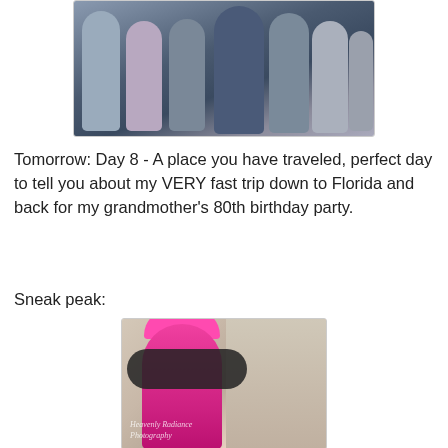[Figure (photo): Group photo of several people standing together, appears to be a movie cast or similar group portrait with a grey/blue toned background]
Tomorrow: Day 8 - A place you have traveled, perfect day to tell you about my VERY fast trip down to Florida and back for my grandmother's 80th birthday party.
Sneak peak:
[Figure (photo): Woman wearing a pink hat and black feather boa, reaching up toward something, photographed by Heavenly Radiance Photography]